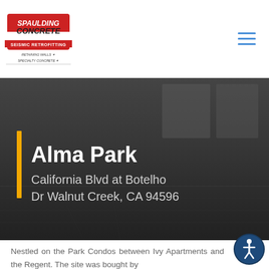[Figure (logo): Spaulding Concrete Seismic Retrofitting logo with text 'Retaining Walls Specialty Concrete']
Alma Park
California Blvd at Botelho Dr Walnut Creek, CA 94596
Nestled on the Park Condos between Ivy Apartments and the Regent. The site was bought by